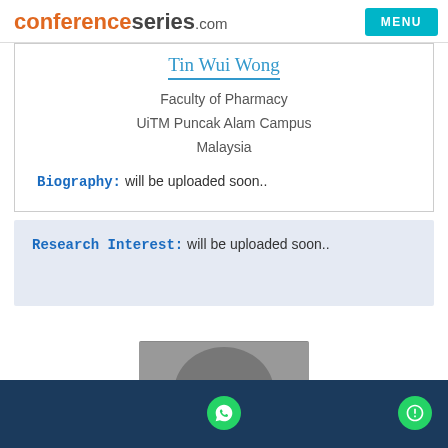conferenceseries.com | MENU
Tin Wui Wong
Faculty of Pharmacy
UiTM Puncak Alam Campus
Malaysia
Biography: will be uploaded soon..
Research Interest: will be uploaded soon..
[Figure (photo): Partial photo visible at bottom of page]
Bottom bar with WhatsApp and chat icons